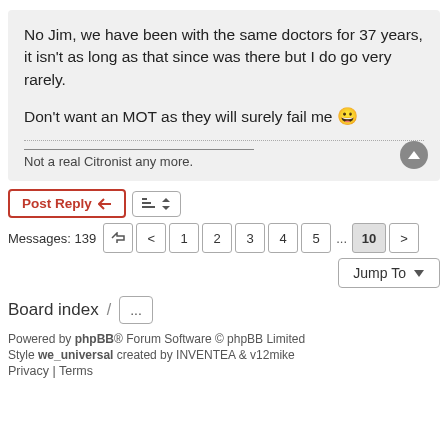No Jim, we have been with the same doctors for 37 years, it isn't as long as that since was there but I do go very rarely.

Don't want an MOT as they will surely fail me 😀
Not a real Citronist any more.
Post Reply
Messages: 139  1 2 3 4 5 ... 10
Jump To
Board index / ...
Powered by phpBB® Forum Software © phpBB Limited
Style we_universal created by INVENTEA & v12mike
Privacy | Terms